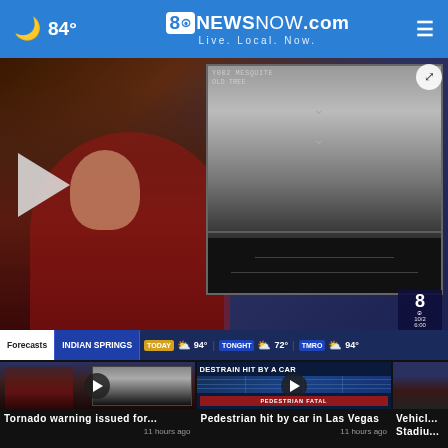84° 8NewsNow.com Live. Local. Now.
[Figure (screenshot): TV news broadcast screenshot showing female anchor in red dress at desk, security camera footage on screen behind her, weather forecast bar at bottom showing Indian Springs: TODAY cloudy 94°, TONIGHT cloudy 72°, TOMORROW cloudy 94°. Channel 8 CBS logo bottom right.]
[Figure (screenshot): Thumbnail: Tornado warning story, news anchor visible, play button overlay]
Tornado warning issued for...
11 hours ago
[Figure (screenshot): Thumbnail: PEDESTRAIN HIT BY A CAR headline, map graphic, PEDESTRIAN FATAL overlay, play button]
Pedestrian hit by car in Las Vegas
11 hours ago
[Figure (screenshot): Thumbnail: Partial view of third story about Vehicle at Stadium]
Vehicl... Stadiu...